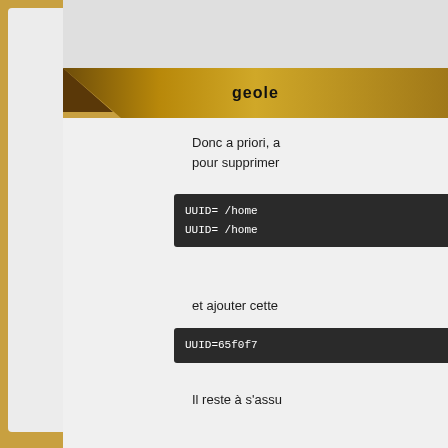geole
Donc a priori, a
pour supprimer
UUID= /home
UUID= /home
et ajouter cette
UUID=65f0f7
Il reste à s'assu
Pages : 1 2 3 … 6 Suivant
Forum » Installation d'Ubuntu
Atteindre
Installation d'Ubuntu
Contact  |